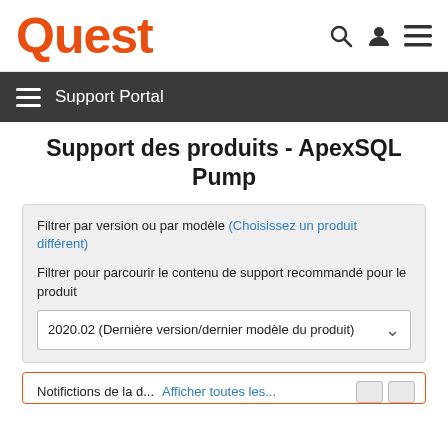Quest
Support Portal
Support des produits - ApexSQL Pump
Filtrer par version ou par modèle (Choisissez un produit différent)
Filtrer pour parcourir le contenu de support recommandé pour le produit
2020.02 (Dernière version/dernier modèle du produit)
Notifictions...  Afficher toutes les...